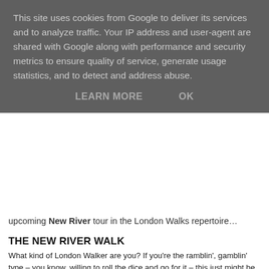[Figure (screenshot): Cookie consent banner overlay with dark grey semi-transparent background. Text reads: 'This site uses cookies from Google to deliver its services and to analyze traffic. Your IP address and user-agent are shared with Google along with performance and security metrics to ensure quality of service, generate usage statistics, and to detect and address abuse.' Two buttons: LEARN MORE and OK.]
upcoming New River tour in the London Walks repertoire…
THE NEW RIVER WALK
What kind of London Walker are you? If you're the ramblin', gamblin' type – you know, willing to roll the dice and go for it – this just might be the walk for you.  How's that Latin proverb put it? Ovis ovem sequitur. One sheep follows another. No sheep out here. Well, none of the two-legged variety. Just ramblin', gamblin' London Walkers. The one in a million sort.* One in a million who are going to see a bit of London that the 999,999 will never see.
Okay, let's zoom in. Zoom in on a king and a castle. Mighty...